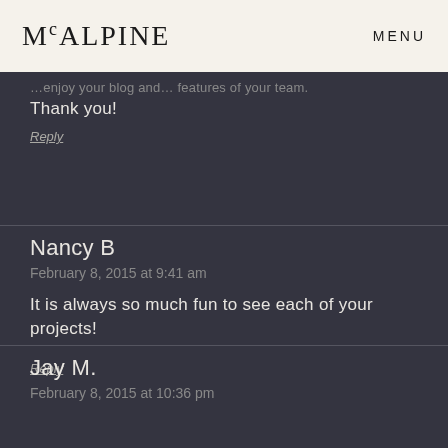MCALPINE  MENU
… enjoy your blog and… features of your team.
Thank you!
Reply
Nancy B
February 8, 2015 at 9:41 am
It is always so much fun to see each of your projects!
Reply
Jay M.
February 8, 2015 at 10:36 pm